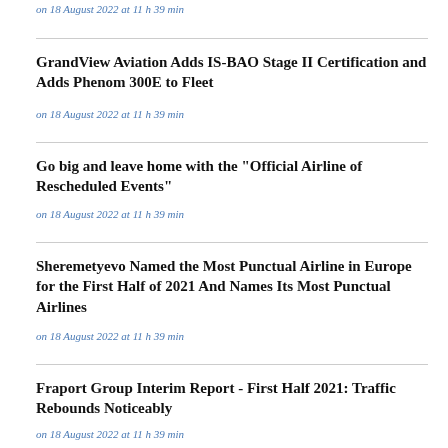on 18 August 2022 at 11 h 39 min
GrandView Aviation Adds IS-BAO Stage II Certification and Adds Phenom 300E to Fleet
on 18 August 2022 at 11 h 39 min
Go big and leave home with the "Official Airline of Rescheduled Events"
on 18 August 2022 at 11 h 39 min
Sheremetyevo Named the Most Punctual Airline in Europe for the First Half of 2021 And Names Its Most Punctual Airlines
on 18 August 2022 at 11 h 39 min
Fraport Group Interim Report - First Half 2021: Traffic Rebounds Noticeably
on 18 August 2022 at 11 h 39 min